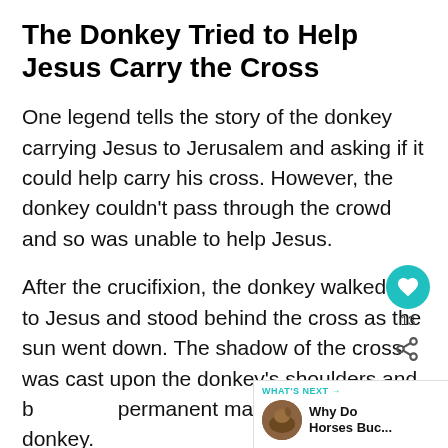The Donkey Tried to Help Jesus Carry the Cross
One legend tells the story of the donkey carrying Jesus to Jerusalem and asking if it could help carry his cross. However, the donkey couldn't pass through the crowd and so was unable to help Jesus.
After the crucifixion, the donkey walked up to Jesus and stood behind the cross as the sun went down. The shadow of the cross was cast upon the donkey's shoulders and back as a permanent marking on every donkey.
[Figure (other): UI overlay: heart/like button showing 13 likes, share button, and a 'WHAT'S NEXT' panel showing 'Why Do Horses Buc...' with a circular thumbnail photo of a horse]